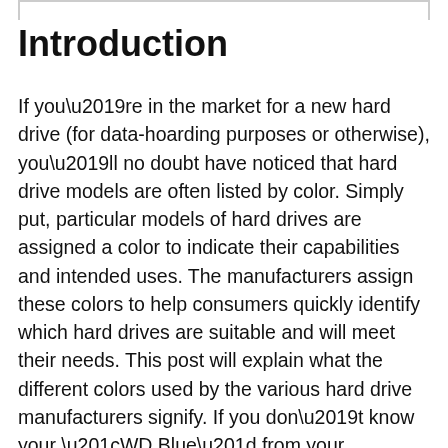Introduction
If you’re in the market for a new hard drive (for data-hoarding purposes or otherwise), you’ll no doubt have noticed that hard drive models are often listed by color. Simply put, particular models of hard drives are assigned a color to indicate their capabilities and intended uses. The manufacturers assign these colors to help consumers quickly identify which hard drives are suitable and will meet their needs. This post will explain what the different colors used by the various hard drive manufacturers signify. If you don’t know your “WD Blue” from your “Seagate Green” then read on.